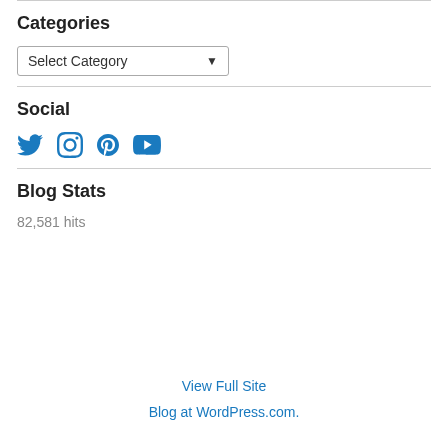Categories
[Figure (screenshot): A dropdown selector labeled 'Select Category' with a chevron arrow on the right]
Social
[Figure (infographic): Four blue social media icons: Twitter bird, Instagram camera, Pinterest P, YouTube play button]
Blog Stats
82,581 hits
View Full Site
Blog at WordPress.com.